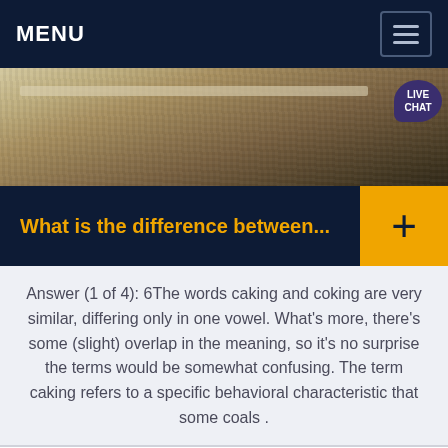MENU
[Figure (photo): Aerial or close-up photo of sandy/gravelly terrain or coal/mineral surface with a 'LIVE CHAT' speech bubble overlay in top-right corner]
What is the difference between...
Answer (1 of 4): 6The words caking and coking are very similar, differing only in one vowel. What's more, there's some (slight) overlap in the meaning, so it's no surprise the terms would be somewhat confusing. The term caking refers to a specific behavioral characteristic that some coals .
Get a Quote
WhatsApp